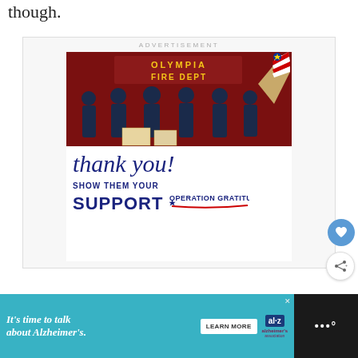though.
ADVERTISEMENT
[Figure (photo): Advertisement for Operation Gratitude showing firefighters from Olympia Fire Dept posing with donated items, with 'thank you!' written in script, 'SHOW THEM YOUR SUPPORT' text, and Operation Gratitude logo with American flag pencil graphic]
[Figure (other): Floating like/heart button (blue circle) and share button (white circle)]
[Figure (other): Bottom banner ad for Alzheimer's Association: 'It's time to talk about Alzheimer's.' with LEARN MORE button and organization logo, plus dark right section with dots logo]